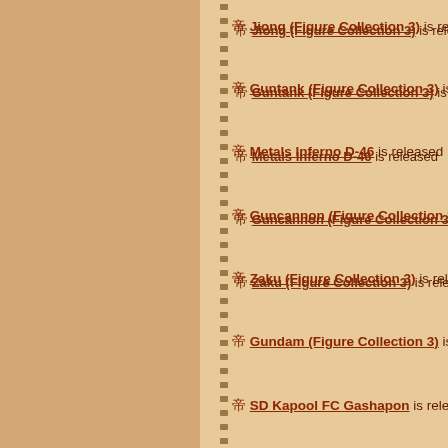帝 Jiong (Figure Collection 3) is released
帝 Guntank (Figure Collection 3) is released
帝 Metals Inferno D-46 is released
帝 Guncannon (Figure Collection 3) is released
帝 Zaku (Figure Collection 3) is released
帝 Gundam (Figure Collection 3) is released
帝 SD Kapool FC Gashapon is released
帝 SD Wadom FC Gashapon is released
帝 SD Flat FC Gashapon is released
10.01.1999 — 帝 Turn A Gundam MSiA
10.02.1999 — 回 Cyborg Kuro-chan debuts
10.05.1999 — 回 Daigard debuts
10.06.1999 — 回 Ryvius debuts
回 Transformers Beast W